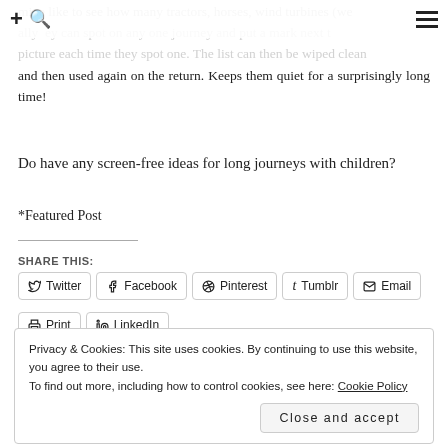+ 🔍 ≡
mine like to see how many tractors, horses, wind turbines (we ally hey can spot on any one journey and put a mark next t picture each time they spot one. The list can then be wiped clean and then used again on the return. Keeps them quiet for a surprisingly long time!
Do have any screen-free ideas for long journeys with children?
*Featured Post
SHARE THIS:
Twitter | Facebook | Pinterest | Tumblr | Email | Print | LinkedIn
Privacy & Cookies: This site uses cookies. By continuing to use this website, you agree to their use.
To find out more, including how to control cookies, see here: Cookie Policy
Close and accept